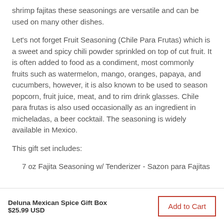shrimp fajitas these seasonings are versatile and can be used on many other dishes.
Let's not forget Fruit Seasoning (Chile Para Frutas) which is a sweet and spicy chili powder sprinkled on top of cut fruit. It is often added to food as a condiment, most commonly fruits such as watermelon, mango, oranges, papaya, and cucumbers, however, it is also known to be used to season popcorn, fruit juice, meat, and to rim drink glasses. Chile para frutas is also used occasionally as an ingredient in micheladas, a beer cocktail. The seasoning is widely available in Mexico.
This gift set includes:
7 oz Fajita Seasoning w/ Tenderizer - Sazon para Fajitas
Deluna Mexican Spice Gift Box $25.99 USD | Add to Cart